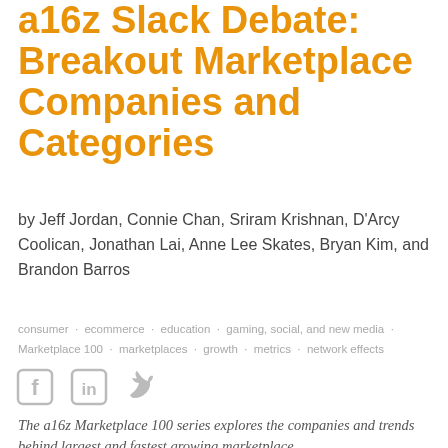a16z Slack Debate: Breakout Marketplace Companies and Categories
by Jeff Jordan, Connie Chan, Sriram Krishnan, D'Arcy Coolican, Jonathan Lai, Anne Lee Skates, Bryan Kim, and Brandon Barros
consumer · ecommerce · education · gaming, social, and new media · Marketplace 100 · marketplaces · growth · metrics · network effects
[Figure (illustration): Social media share icons: Facebook, LinkedIn, Twitter]
The a16z Marketplace 100 series explores the companies and trends behind largest and fastest growing marketplace